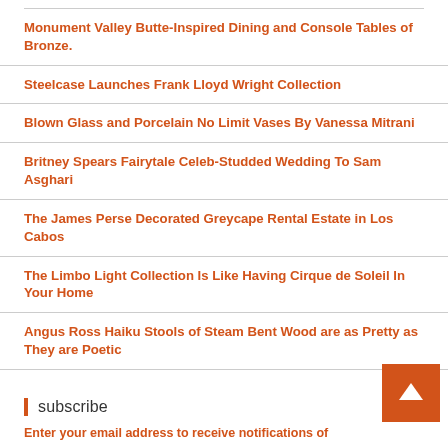Monument Valley Butte-Inspired Dining and Console Tables of Bronze.
Steelcase Launches Frank Lloyd Wright Collection
Blown Glass and Porcelain No Limit Vases By Vanessa Mitrani
Britney Spears Fairytale Celeb-Studded Wedding To Sam Asghari
The James Perse Decorated Greycape Rental Estate in Los Cabos
The Limbo Light Collection Is Like Having Cirque de Soleil In Your Home
Angus Ross Haiku Stools of Steam Bent Wood are as Pretty as They are Poetic
subscribe
Enter your email address to receive notifications of